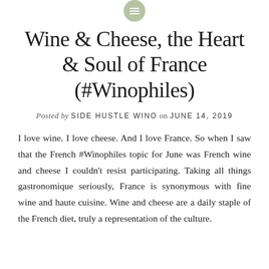Wine & Cheese, the Heart & Soul of France (#Winophiles)
Posted by SIDE HUSTLE WINO on JUNE 14, 2019
I love wine. I love cheese. And I love France. So when I saw that the French #Winophiles topic for June was French wine and cheese I couldn't resist participating. Taking all things gastronomique seriously, France is synonymous with fine wine and haute cuisine. Wine and cheese are a daily staple of the French diet, truly a representation of the culture.